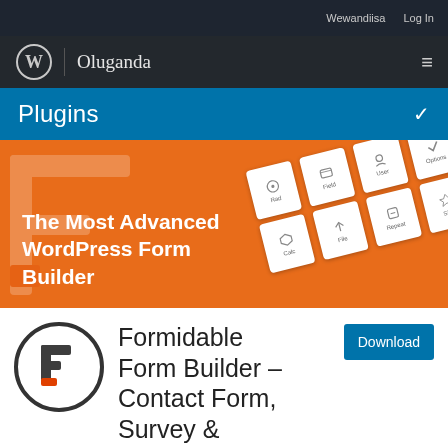Wewandiisa   Log In
Oluganda
Plugins
[Figure (illustration): Formidable Forms plugin promotional banner with orange background, large F logo watermark, and floating white card tiles with icons on the right side. Text reads: The Most Advanced WordPress Form Builder]
[Figure (logo): Formidable Forms circular logo icon with F lettermark in dark gray and orange accent]
Formidable Form Builder – Contact Form, Survey &
Download